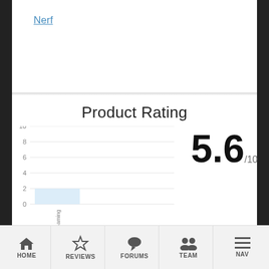Nerf
Product Rating
[Figure (bar-chart): Product Rating]
5.6/10
HOME  REVIEWS  FORUMS  TEAM  NAV